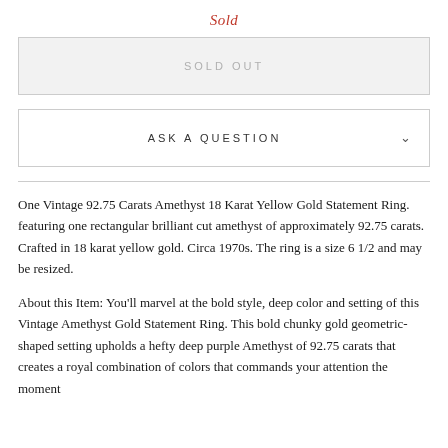Sold
SOLD OUT
ASK A QUESTION
One Vintage 92.75 Carats Amethyst 18 Karat Yellow Gold Statement Ring. featuring one rectangular brilliant cut amethyst of approximately 92.75 carats. Crafted in 18 karat yellow gold. Circa 1970s. The ring is a size 6 1/2 and may be resized.
About this Item: You'll marvel at the bold style, deep color and setting of this Vintage Amethyst Gold Statement Ring. This bold chunky gold geometric-shaped setting upholds a hefty deep purple Amethyst of 92.75 carats that creates a royal combination of colors that commands your attention the moment you lay eyes on it. Available for a one-time purchase.